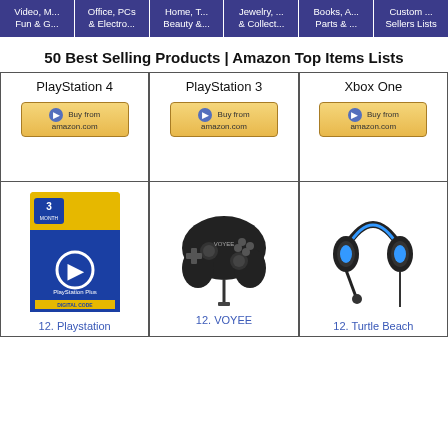Video, M... Fun & G... | Office, PCs & Electro... | Home, T... Beauty &... | Jewelry, ... & Collect... | Books, A... Parts & ... | Custom ... Sellers Lists
50 Best Selling Products | Amazon Top Items Lists
| PlayStation 4 | PlayStation 3 | Xbox One |
| --- | --- | --- |
| Buy from amazon.com | Buy from amazon.com | Buy from amazon.com |
[Figure (photo): PlayStation Plus 3 Month card - digital code]
[Figure (photo): VOYEE black PS3 controller gamepad]
[Figure (photo): Turtle Beach blue/black gaming headset]
12. Playstation
12. VOYEE
12. Turtle Beach